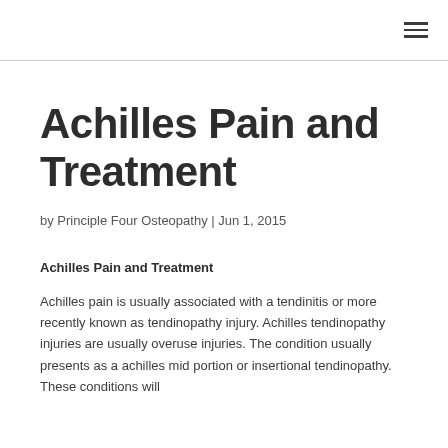☰
Achilles Pain and Treatment
by Principle Four Osteopathy | Jun 1, 2015
Achilles Pain and Treatment
Achilles pain is usually associated with a tendinitis or more recently known as tendinopathy injury.  Achilles tendinopathy injuries are usually overuse injuries.  The condition usually presents as a achilles mid portion or insertional tendinopathy.  These conditions will typically treat fairly conservative treatment though and